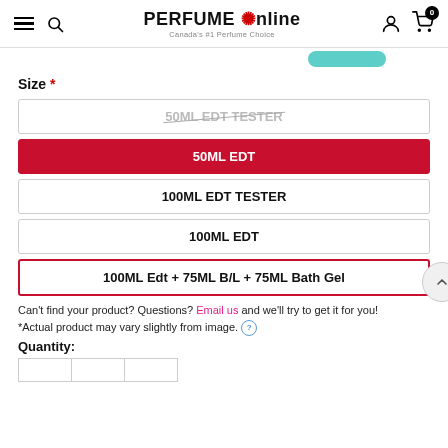PERFUME Online - Canada's #1 Perfume Choice
Size *
50ML EDT TESTER (strikethrough/unavailable)
50ML EDT (selected)
100ML EDT TESTER
100ML EDT
100ML Edt + 75ML B/L + 75ML Bath Gel
Can't find your product? Questions? Email us and we'll try to get it for you!
*Actual product may vary slightly from image.
Quantity: